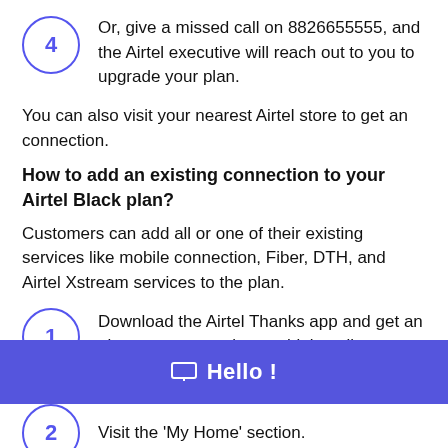4 Or, give a missed call on 8826655555, and the Airtel executive will reach out to you to upgrade your plan.
You can also visit your nearest Airtel store to get an connection.
How to add an existing connection to your Airtel Black plan?
Customers can add all or one of their existing services like mobile connection, Fiber, DTH, and Airtel Xstream services to the plan.
1 Download the Airtel Thanks app and get an plan on your own by combining all your existing services.
☐ Hello !
2 Visit the 'My Home' section.